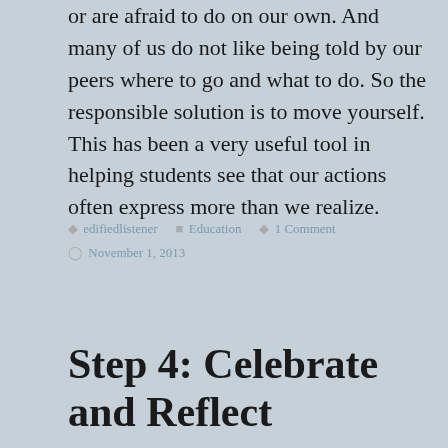or are afraid to do on our own. And many of us do not like being told by our peers where to go and what to do. So the responsible solution is to move yourself. This has been a very useful tool in helping students see that our actions often express more than we realize.
edifiedlistener   Education   1 Comment  November 1, 2013
Step 4: Celebrate and Reflect